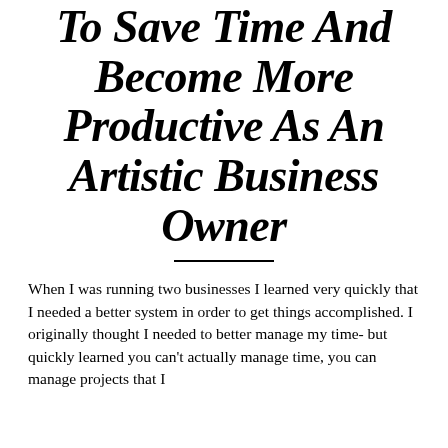To Save Time And Become More Productive As An Artistic Business Owner
When I was running two businesses I learned very quickly that I needed a better system in order to get things accomplished. I originally thought I needed to better manage my time- but quickly learned you can't actually manage time, you can manage projects that I